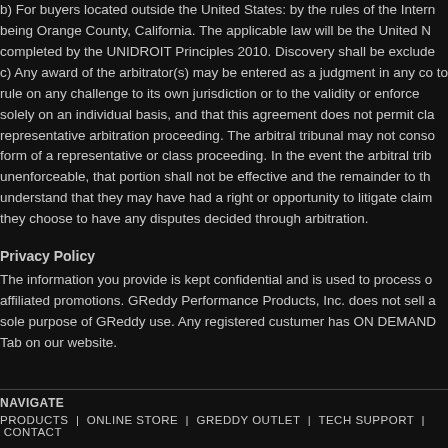b) For buyers located outside the United States: by the rules of the International Chamber of Commerce, the place of arbitration being Orange County, California. The applicable law will be the United Nations Convention of Contracts for the International Sale of Goods as completed by the UNIDROIT Principles 2010. Discovery shall be excluded to the fullest extent permitted by applicable law. c) Any award of the arbitrator(s) may be entered as a judgment in any court having jurisdiction. The arbitrator shall have the power to rule on any challenge to its own jurisdiction or to the validity or enforceability of this agreement. The parties further agree to arbitrate solely on an individual basis, and that this agreement does not permit class or collective actions or arbitration on behalf of others in any representative arbitration proceeding. The arbitral tribunal may not consolidate more than one person's claims, and may not otherwise preside over any form of a representative or class proceeding. In the event the arbitral tribunal determines that any portion of this agreement to arbitrate is void or unenforceable, that portion shall not be effective and the remainder to the extent permitted by law shall remain in full force and effect. Parties understand that they may have had a right or opportunity to litigate claims through a court, but that they choose to have any disputes decided through arbitration.
Privacy Policy
The information you provide is kept confidential and is used to process orders and for GReddy and affiliated promotions. GReddy Performance Products, Inc. does not sell any personal information. It is kept for the sole purpose of GReddy use. Any registered custumer has ON DEMAND access to their information through the My Account Tab on our website.
NAVIGATE
PRODUCTS  |  ONLINE STORE  |  GREDDY OUTLET  |  TECH SUPPORT  |  CONTACT